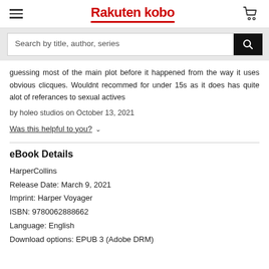Rakuten kobo
[Figure (screenshot): Search bar with text 'Search by title, author, series' and a black search button with magnifying glass icon]
guessing most of the main plot before it happened from the way it uses obvious clicques. Wouldnt recommed for under 15s as it does has quite alot of referances to sexual actives
by holeo studios on October 13, 2021
Was this helpful to you? ∨
eBook Details
HarperCollins
Release Date: March 9, 2021
Imprint: Harper Voyager
ISBN: 9780062888662
Language: English
Download options: EPUB 3 (Adobe DRM)